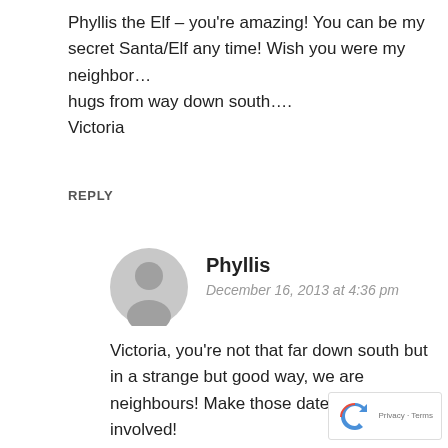Phyllis the Elf – you're amazing! You can be my secret Santa/Elf any time! Wish you were my neighbor…
hugs from way down south….
Victoria
REPLY
[Figure (illustration): Gray circular avatar/silhouette icon for user Phyllis]
Phyllis
December 16, 2013 at 4:36 pm
Victoria, you're not that far down south but in a strange but good way, we are neighbours! Make those dates, no cooking involved!
REPLY